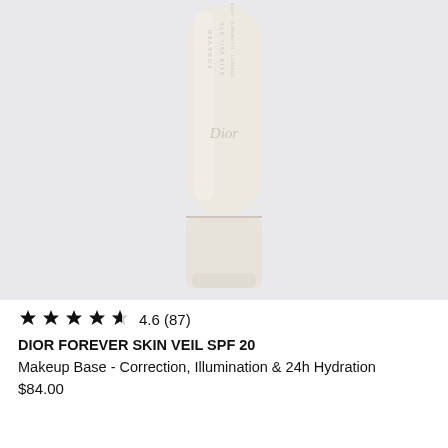[Figure (photo): A Dior Forever Skin Veil SPF 20 product tube in a creamy beige/ivory color, lying flat on a light grey/lavender background. The tube shows the Dior logo and product name text on it.]
★★★★⯨ 4.6 (87)
DIOR FOREVER SKIN VEIL SPF 20
Makeup Base - Correction, Illumination & 24h Hydration
$84.00